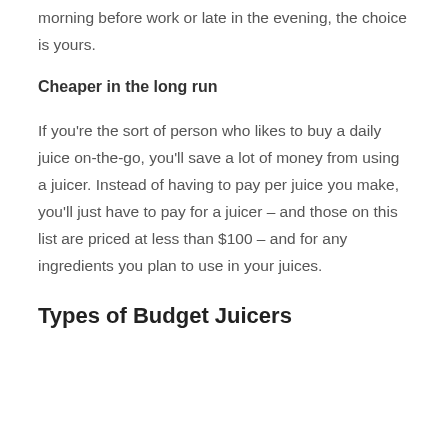morning before work or late in the evening, the choice is yours.
Cheaper in the long run
If you're the sort of person who likes to buy a daily juice on-the-go, you'll save a lot of money from using a juicer. Instead of having to pay per juice you make, you'll just have to pay for a juicer – and those on this list are priced at less than $100 – and for any ingredients you plan to use in your juices.
Types of Budget Juicers